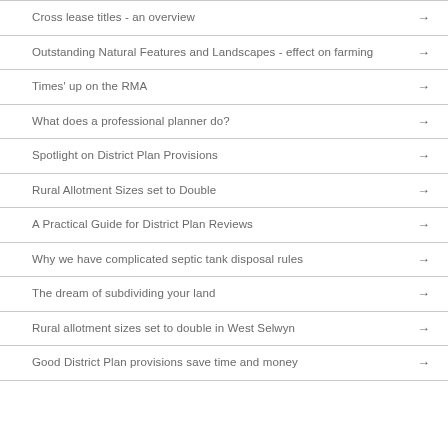Cross lease titles - an overview
Outstanding Natural Features and Landscapes - effect on farming
Times' up on the RMA
What does a professional planner do?
Spotlight on District Plan Provisions
Rural Allotment Sizes set to Double
A Practical Guide for District Plan Reviews
Why we have complicated septic tank disposal rules
The dream of subdividing your land
Rural allotment sizes set to double in West Selwyn
Good District Plan provisions save time and money